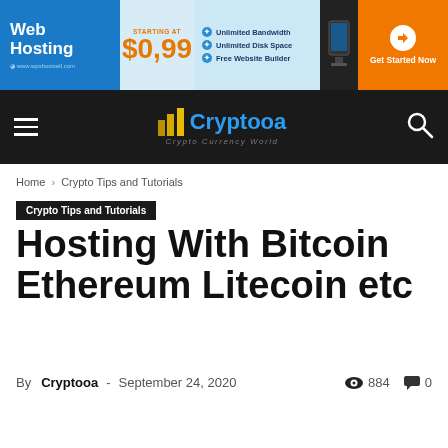[Figure (infographic): Web Hosting advertisement banner: blue section with 'Web Hosting' text and www.wphostsell.com, price section showing 'STARTING AT $0,99', features section listing 'Unlimited Bandwidth', 'Unlimited Disk Space', 'Free Website Builder', computer graphic on dark background, orange 'Get Started Now' CTA button]
[Figure (logo): Cryptooa website navigation bar with hamburger menu on left, Cryptooa logo (gold bar chart icon with blue text) in center, search icon on right, dark background. Tagline: Crypto Currency World]
Home › Crypto Tips and Tutorials
Crypto Tips and Tutorials
Hosting With Bitcoin Ethereum Litecoin etc
By Cryptooa - September 24, 2020  884  0